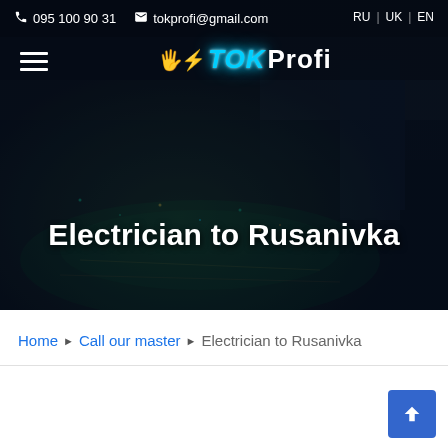095 100 90 31  tokprofi@gmail.com  RU  UK  EN
[Figure (screenshot): Dark night city aerial view background image with bokeh city lights]
[Figure (logo): TokProfi logo with electrical plug icon, cyan colored TOK and white Profi text]
Electrician to Rusanivka
Home ▸ Call our master ▸ Electrician to Rusanivka